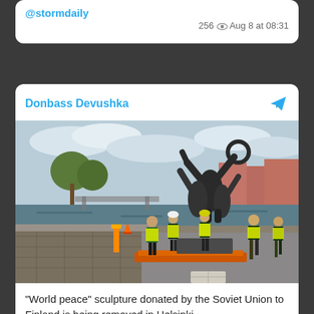@stormdaily
256  Aug 8 at 08:31
Donbass Devushka
[Figure (photo): Workers in high-visibility yellow vests removing a large dark bronze sculpture depicting intertwined human figures with raised arms, on a waterfront in Helsinki. Buildings and trees visible in background. Wet ground, overcast sky.]
"World peace" sculpture donated by the Soviet Union to Finland is being removed in Helsinki.